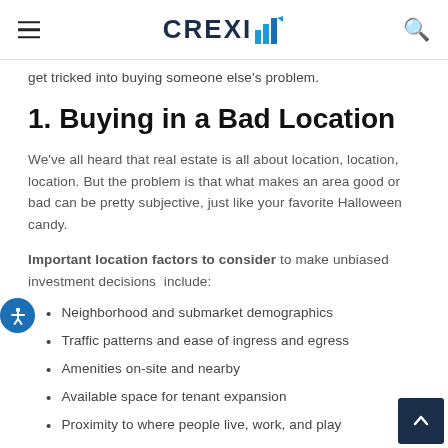CREXI
get tricked into buying someone else's problem.
1. Buying in a Bad Location
We've all heard that real estate is all about location, location, location. But the problem is that what makes an area good or bad can be pretty subjective, just like your favorite Halloween candy.
Important location factors to consider to make unbiased investment decisions include:
Neighborhood and submarket demographics
Traffic patterns and ease of ingress and egress
Amenities on-site and nearby
Available space for tenant expansion
Proximity to where people live, work, and play